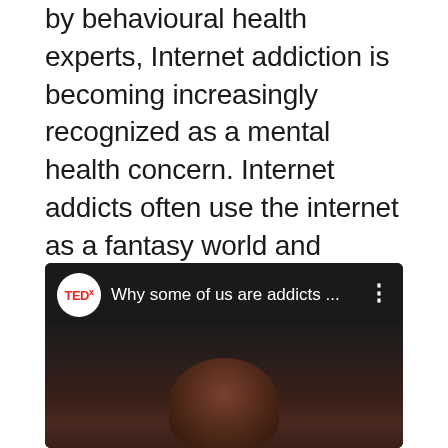by behavioural health experts, Internet addiction is becoming increasingly recognized as a mental health concern. Internet addicts often use the internet as a fantasy world and substitute for face-to-face interaction, often being unable to achieve these relationship connections in the usual way. The condition shares many characteristics with other, more recognised addictions.
[Figure (screenshot): Embedded YouTube video thumbnail showing a TEDx talk titled 'Why some of us are addicts ...' with a person's face partially visible in the video preview area.]